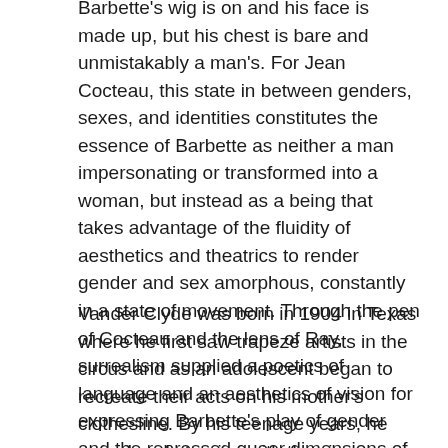Barbette's wig is on and his face is made up, but his chest is bare and unmistakably a man's. For Jean Cocteau, this state in between genders, sexes, and identities constitutes the essence of Barbette as neither a man impersonating or transformed into a woman, but instead as a being that takes advantage of the fluidity of aesthetics and theatrics to render gender and sex amorphous, constantly in a state of movement. Through the pen of Cocteau and the lens of Ray, surrealism supplied a poetics of language and an aesthetics of vision for expressing Barbette's play of gender and the repressed queer dimensions of the unconscious his act revealed.
Vander Clyde was born in 1904 in Texas where he first saw trapeze artists in the circus and as an adolescent began to recreate their acts on his mother's clothesline. By his teenage years, he was already touring with the circus, most notably as a